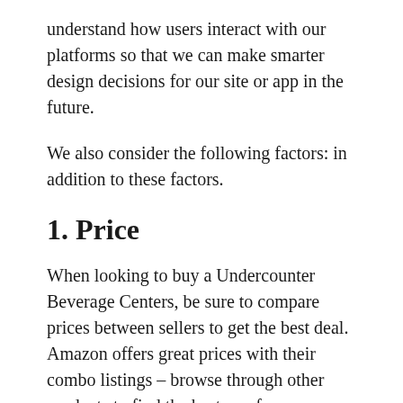understand how users interact with our platforms so that we can make smarter design decisions for our site or app in the future.
We also consider the following factors: in addition to these factors.
1. Price
When looking to buy a Undercounter Beverage Centers, be sure to compare prices between sellers to get the best deal. Amazon offers great prices with their combo listings – browse through other products to find the best one for you.